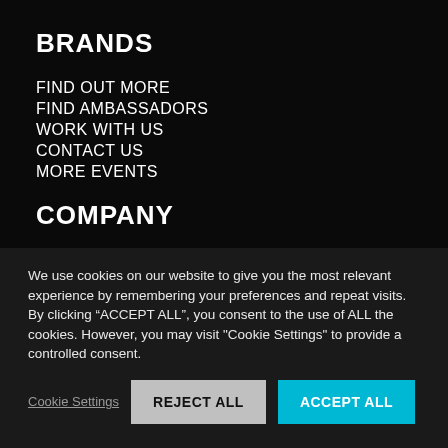BRANDS
FIND OUT MORE
FIND AMBASSADORS
WORK WITH US
CONTACT US
MORE EVENTS
COMPANY
ABOUT US
We use cookies on our website to give you the most relevant experience by remembering your preferences and repeat visits. By clicking “ACCEPT ALL”, you consent to the use of ALL the cookies. However, you may visit "Cookie Settings" to provide a controlled consent.
Cookie Settings | REJECT ALL | ACCEPT ALL